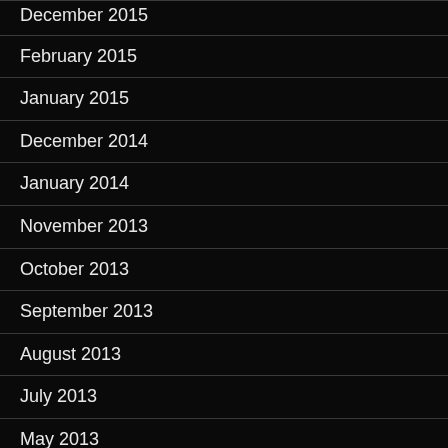December 2015
February 2015
January 2015
December 2014
January 2014
November 2013
October 2013
September 2013
August 2013
July 2013
May 2013
March 2013
October 2012